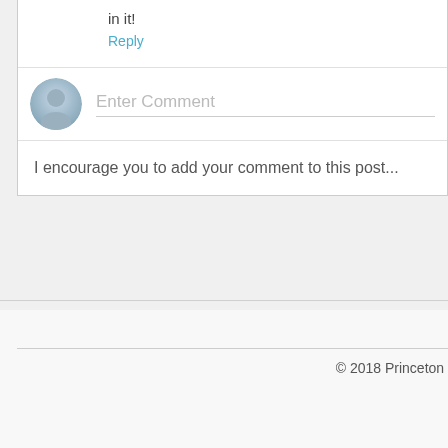in it!
Reply
[Figure (illustration): Default user avatar circle with silhouette icon, grey gradient]
Enter Comment
I encourage you to add your comment to this post...
© 2018 Princeton